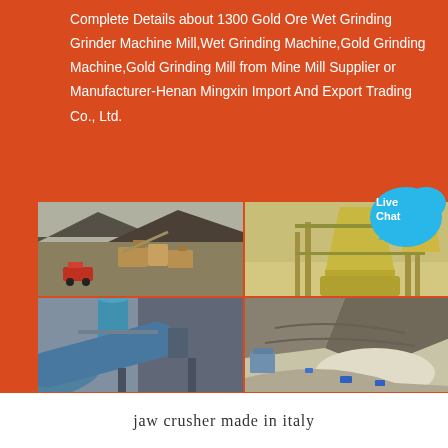Complete Details about 1300 Gold Ore Wet Grinding Grinder Machine Mill,Wet Grinding Machine,Gold Grinding Machine,Gold Grinding Mill from Mine Mill Supplier or Manufacturer-Henan Mingxin Import And Export Trading Co., Ltd.
[Figure (photo): Four photographs arranged in a 2x2 grid showing mining and milling equipment: top-left shows an outdoor open-pit mining site with machinery and a truck; top-right shows indoor industrial grinding/milling equipment in yellow; bottom-left shows a large industrial tower/kiln structure; bottom-right shows an aerial view of a mining facility.]
jaw crusher made in italy